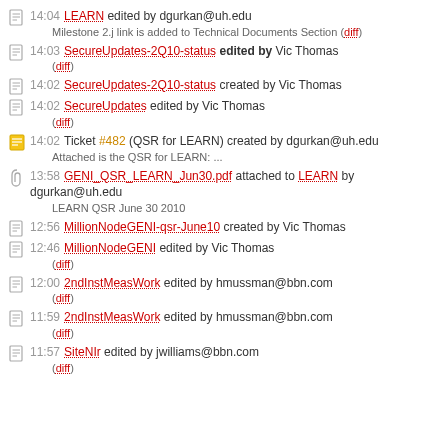14:04 LEARN edited by dgurkan@uh.edu — Milestone 2.j link is added to Technical Documents Section (diff)
14:03 SecureUpdates-2Q10-status edited by Vic Thomas (diff)
14:02 SecureUpdates-2Q10-status created by Vic Thomas
14:02 SecureUpdates edited by Vic Thomas (diff)
14:02 Ticket #482 (QSR for LEARN) created by dgurkan@uh.edu — Attached is the QSR for LEARN: ...
13:58 GENI_QSR_LEARN_Jun30.pdf attached to LEARN by dgurkan@uh.edu — LEARN QSR June 30 2010
12:56 MillionNodeGENI-qsr-June10 created by Vic Thomas
12:46 MillionNodeGENI edited by Vic Thomas (diff)
12:00 2ndInstMeasWork edited by hmussman@bbn.com (diff)
11:59 2ndInstMeasWork edited by hmussman@bbn.com (diff)
11:57 SiteNIr edited by jwilliams@bbn.com (diff)